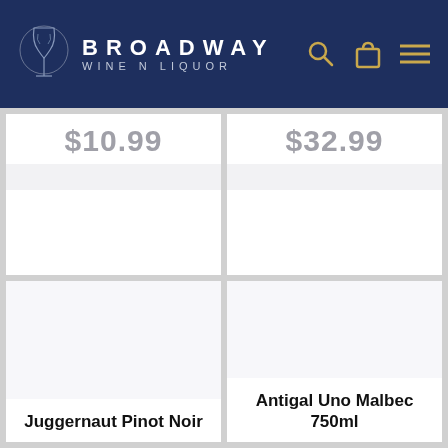BROADWAY WINE N LIQUOR
$10.99
$32.99
[Figure (photo): Product image area for Juggernaut Pinot Noir (blank/white)]
Juggernaut Pinot Noir
[Figure (photo): Product image area for Antigal Uno Malbec 750ml (blank/white)]
Antigal Uno Malbec 750ml